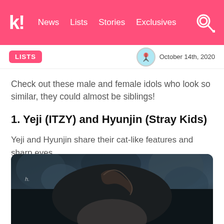k! News Lists Stories Exclusives
LISTS  October 14th, 2020
Check out these male and female idols who look so similar, they could almost be siblings!
1. Yeji (ITZY) and Hyunjin (Stray Kids)
Yeji and Hyunjin share their cat-like features and sharp eyes.
[Figure (photo): Photo of a K-pop idol with dark hair against a blurred dark background]